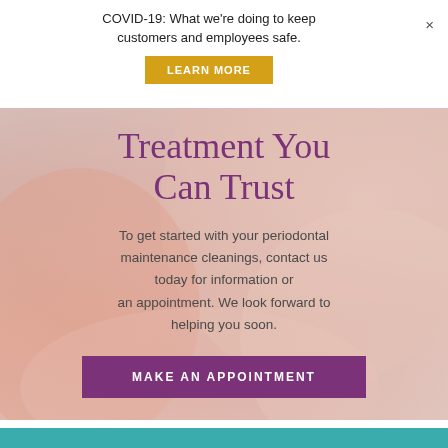COVID-19: What we’re doing to keep customers and employees safe.
LEARN MORE
Treatment You Can Trust
To get started with your periodontal maintenance cleanings, contact us today for information or an appointment. We look forward to helping you soon.
MAKE AN APPOINTMENT
[Figure (photo): Background photo of a smiling woman with her hand near her face, serving as a hero image backdrop for the dental/periodontal care page.]